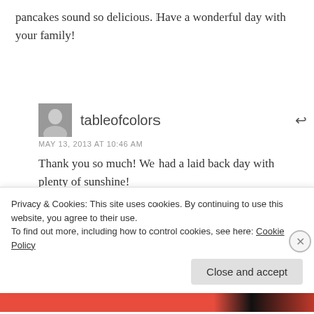pancakes sound so delicious. Have a wonderful day with your family!
tableofcolors
MAY 13, 2013 AT 10:46 AM
Thank you so much! We had a laid back day with plenty of sunshine!
dedy oktavianus pardede
Privacy & Cookies: This site uses cookies. By continuing to use this website, you agree to their use.
To find out more, including how to control cookies, see here: Cookie Policy
Close and accept